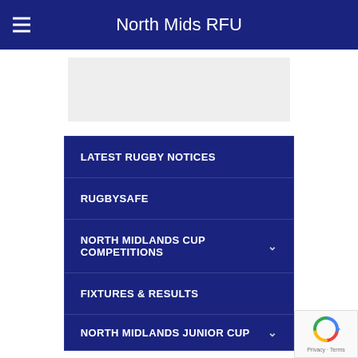North Mids RFU
[Figure (other): Gray placeholder banner image area]
LATEST RUGBY NOTICES
RUGBYSAFE
NORTH MIDLANDS CUP COMPETITIONS
FIXTURES & RESULTS
NORTH MIDLANDS JUNIOR CUP